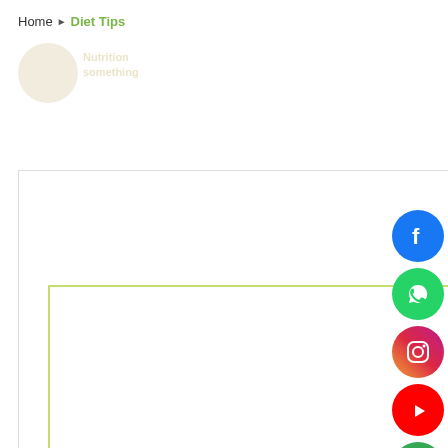Home ▶ Diet Tips
[Figure (logo): Nutrition/diet website logo with circular emblem and text, shown faded]
[Figure (other): Large white advertisement/content area with light grey border]
[Figure (other): Inner content box with olive/yellow-green border]
[Figure (other): Social media sidebar icons: Facebook (blue), WhatsApp (green), Instagram (gradient), YouTube (red), Phone (green)]